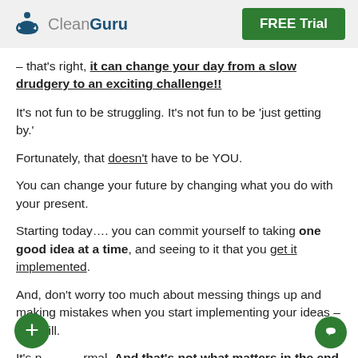[Figure (logo): CleanGuru logo with blue meditating figure icon and gray/blue text, plus green FREE Trial button]
– that's right, it can change your day from a slow drudgery to an exciting challenge!!
It's not fun to be struggling. It's not fun to be 'just getting by.'
Fortunately, that doesn't have to be YOU.
You can change your future by changing what you do with your present.
Starting today…. you can commit yourself to taking one good idea at a time, and seeing to it that you get it implemented.
And, don't worry too much about messing things up and making mistakes when you start implementing your ideas – you will.
It's normal. And that's not what matters in the end anyway!